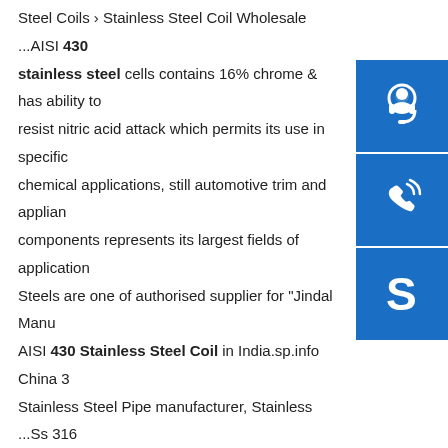Steel Coils › Stainless Steel Coil Wholesale ...AISI 430 stainless steel cells contains 16% chrome & has ability to resist nitric acid attack which permits its use in specific chemical applications, still automotive trim and appliance components represents its largest fields of application. Steels are one of authorised supplier for "Jindal Manu... AISI 430 Stainless Steel Coil in India.sp.info China 3... Stainless Steel Pipe manufacturer, Stainless ...Ss 316 Aisi 430 304 Cold Rolled Coils Strip SS316 Ba Finish 316L St... Steel Coil FOB Price: US $1,150-1,350 / Ton Min. Ore... TonBusiness Type: Manufacturer/FactoryRegistered Capital: 5130000 RMBPlant Area: 501~1000 square meters
[Figure (illustration): Three blue square icons stacked vertically on the right side: a headset/support icon, a phone/call icon, and a Skype icon]
China Acero Inoxidable Precio Placas 4X8 Sheet Metal SUS ...
Acero Inoxidable Precio Placas 4X8 Sheet Metal SUS 201 304